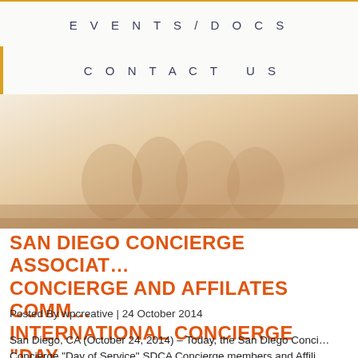EVENTS/DOCS
CONTACT US
[Figure (photo): Faded warm-toned hero image, likely a group of people at an event, rendered in muted amber and beige tones]
SAN DIEGO CONCIERGE ASSOCIAT... CONCIERGE AND AFFILATES COMM... INTERNATIONAL CONCIERGE “DAY...
Posted By wpcreative | 24 October 2014
San Diego, CA (October 24, 2014) – Today, the San Diego Conci... Concierge “Day of Service” SDCA Concierge members and Affili...